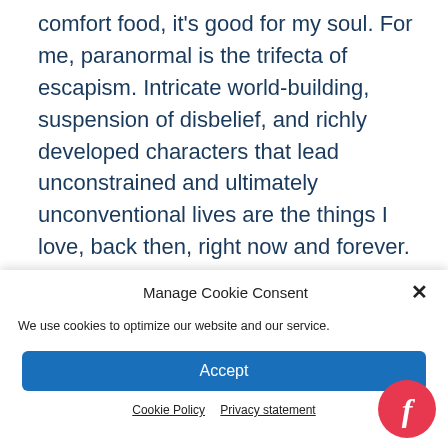comfort food, it's good for my soul. For me, paranormal is the trifecta of escapism. Intricate world-building, suspension of disbelief, and richly developed characters that lead unconstrained and ultimately unconventional lives are the things I love, back then, right now and forever.
Manage Cookie Consent
We use cookies to optimize our website and our service.
Accept
Cookie Policy   Privacy statement